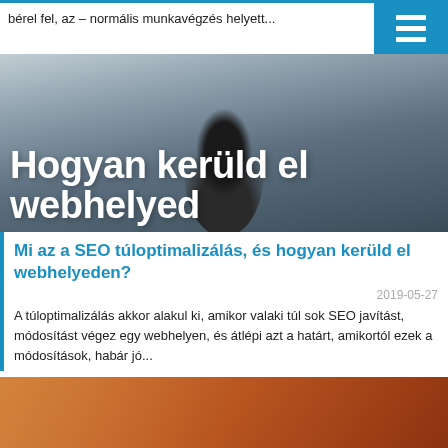bérel fel, az – normális munkavégzés helyett...
[Figure (photo): A person seen from behind looking at a whiteboard, with large overlaid white bold text 'Hogyan kerüld el webhelyед' partly visible]
Mi az a SEO túloptimalizálás, és hogyan kerüld el webhelyeden?
2019-05-27
A túloptimalizálás akkor alakul ki, amikor valaki túl sok SEO javítást, módosítást végez egy webhelyen, és átlépi azt a határt, amikortól ezek a módosítások, habár jó...
[Figure (photo): Close-up photo of a person writing with a pen, orange/warm toned background]